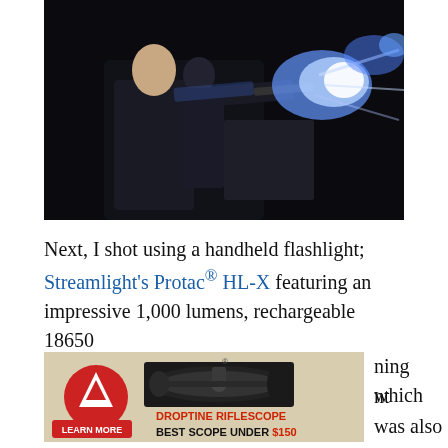[Figure (photo): Person shooting a firearm in the dark with a bright muzzle flash and blue/white light explosion visible; a second person visible behind]
Next, I shot using a handheld flashlight; Streamlight's Protac® HL-X featuring an impressive 1,000 lumens, rechargeable 18650 ning which nt was also
[Figure (photo): Burris Droptine Riflescope advertisement: Burris logo with mountain icon, image of riflescope, text DROPTINE RIFLESCOPE, BEST SCOPE UNDER $150, LEARN MORE button]